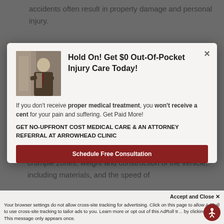accidents often result in property damage and personal injury.
[Figure (screenshot): Modal popup advertisement for Arrowhead Clinic injury care with photo of man in suit, headline, body text, and CTA button]
crumple zones, weight and construction of the vehicle, including materials, and the speed of
Accept and Close ✕ Your browser settings do not allow cross-site tracking for advertising. Click on this page to allow AdRoll to use cross-site tracking to tailor ads to you. Learn more or opt out of this AdRoll tracker by clicking here. This message only appears once.